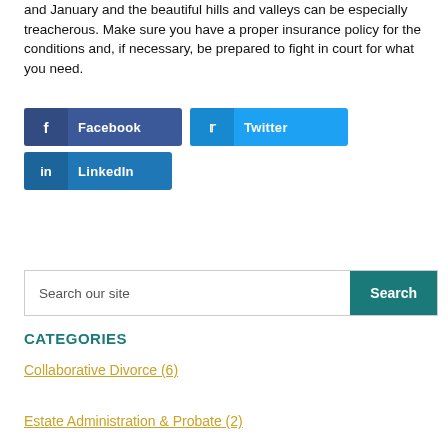and January and the beautiful hills and valleys can be especially treacherous. Make sure you have a proper insurance policy for the conditions and, if necessary, be prepared to fight in court for what you need.
[Figure (infographic): Social share buttons: Facebook (dark blue), Twitter (light blue), LinkedIn (medium blue)]
[Figure (screenshot): Search bar with text 'Search our site' and a teal Search button]
CATEGORIES
Collaborative Divorce (6)
Estate Administration & Probate (2)